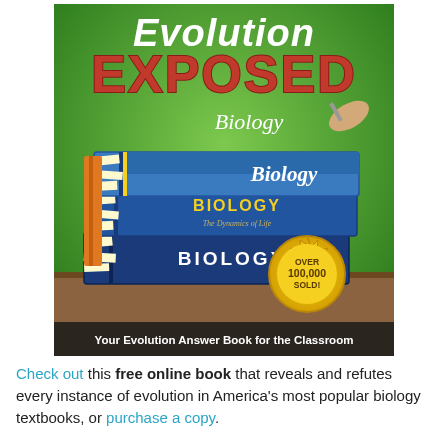[Figure (illustration): Book cover of 'Evolution Exposed: Biology' showing a stack of three blue biology textbooks with sticky notes, on a green background. A hand writes 'Biology' in the upper right. A gold badge reads 'Over 100,000 Sold!' at the bottom. Text at bottom reads 'Your Evolution Answer Book for the Classroom'.]
Check out this free online book that reveals and refutes every instance of evolution in America's most popular biology textbooks, or purchase a copy.